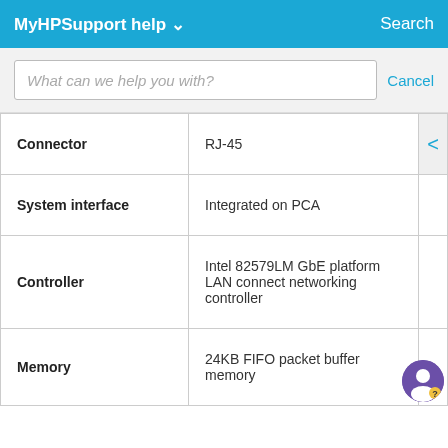MyHPSupport help  Search
What can we help you with?  Cancel
| Property | Value |
| --- | --- |
| Connector | RJ-45 |
| System interface | Integrated on PCA |
| Controller | Intel 82579LM GbE platform LAN connect networking controller |
| Memory | 24KB FIFO packet buffer memory |